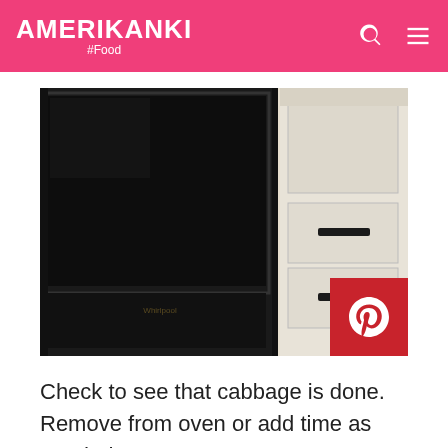AMERIKANKI #Food
[Figure (photo): Close-up photo of a black oven/microwave built into white kitchen cabinetry with black drawer handles]
Check to see that cabbage is done. Remove from oven or add time as needed.